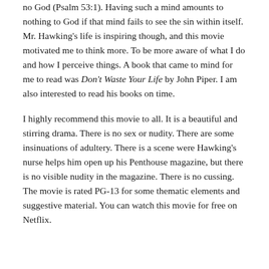no God (Psalm 53:1). Having such a mind amounts to nothing to God if that mind fails to see the sin within itself. Mr. Hawking's life is inspiring though, and this movie motivated me to think more. To be more aware of what I do and how I perceive things. A book that came to mind for me to read was Don't Waste Your Life by John Piper. I am also interested to read his books on time.
I highly recommend this movie to all. It is a beautiful and stirring drama. There is no sex or nudity. There are some insinuations of adultery. There is a scene were Hawking's nurse helps him open up his Penthouse magazine, but there is no visible nudity in the magazine. There is no cussing. The movie is rated PG-13 for some thematic elements and suggestive material. You can watch this movie for free on Netflix.